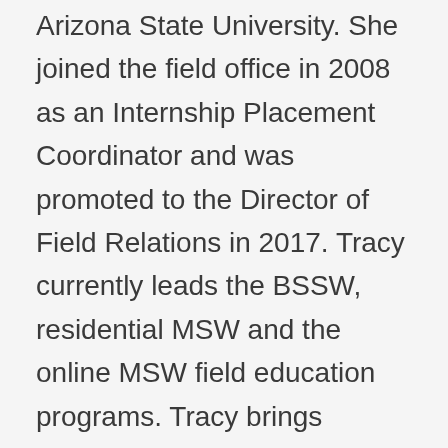Arizona State University. She joined the field office in 2008 as an Internship Placement Coordinator and was promoted to the Director of Field Relations in 2017. Tracy currently leads the BSSW, residential MSW and the online MSW field education programs. Tracy brings extensive experience in all aspects of field education. She also brings 14 years of social work practice experience in the provision, supervision and program administration of children and family services such as foster care, Multi-systemic Therapy, preventive services, therapeutic family intervention, therapeutic wrap around services, intensive supervised independent